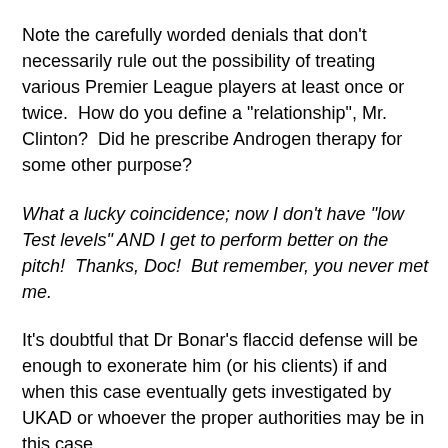Note the carefully worded denials that don't necessarily rule out the possibility of treating various Premier League players at least once or twice.  How do you define a "relationship", Mr. Clinton?  Did he prescribe Androgen therapy for some other purpose?
What a lucky coincidence; now I don't have "low Test levels" AND I get to perform better on the pitch!  Thanks, Doc!  But remember, you never met me.
It's doubtful that Dr Bonar's flaccid defense will be enough to exonerate him (or his clients) if and when this case eventually gets investigated by UKAD or whoever the proper authorities may be in this case.
It should be noted that no specific player names have